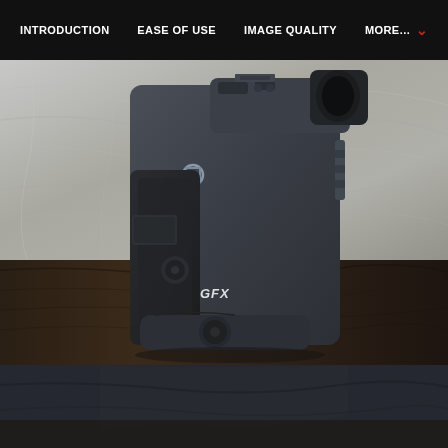INTRODUCTION  EASE OF USE  IMAGE QUALITY  MORE...
[Figure (photo): Side view of a Fujifilm GFX medium format camera body in dark gray/black, showing the grip, strap lug, viewfinder, and GFX logo, placed on a wooden surface with a crumpled metallic/grey background]
[Figure (photo): Partial bottom view of the same Fujifilm GFX camera, showing a dark bottom portion, cut off]